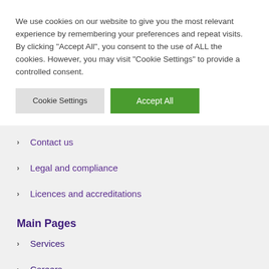We use cookies on our website to give you the most relevant experience by remembering your preferences and repeat visits. By clicking "Accept All", you consent to the use of ALL the cookies. However, you may visit "Cookie Settings" to provide a controlled consent.
Cookie Settings
Accept All
Contact us
Legal and compliance
Licences and accreditations
Main Pages
Services
Careers